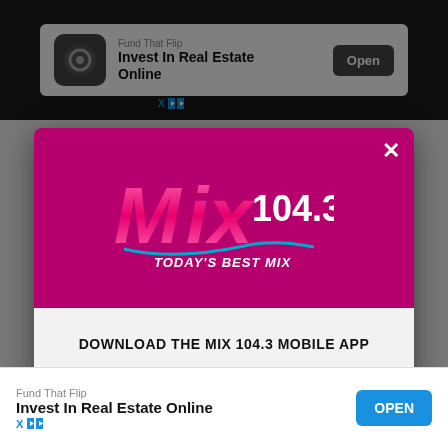[Figure (screenshot): Top advertisement banner: Fund That Flip - Invest In Real Estate Online with Open button]
[Figure (screenshot): Modal popup for Mix 104.3 mobile app. Header has magenta background with Mix 104.3 Today's Best Mix logo and X close button. Body has download prompt, teal GET OUR FREE MOBILE APP button, and Amazon Alexa logo row.]
DOWNLOAD THE MIX 104.3 MOBILE APP
GET OUR FREE MOBILE APP
Also listen on:  amazon alexa
[Figure (screenshot): Bottom advertisement banner: Fund That Flip - Invest In Real Estate Online with OPEN button]